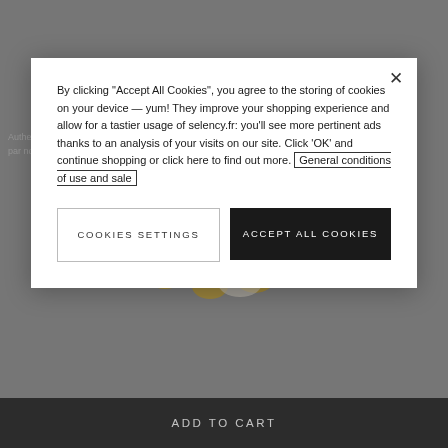Welcome (back) to Selency! The marketplace where unique pre-loved furniture and vintage home decor live happily together
[Figure (screenshot): Background webpage showing a decorative chandelier product page on Selency marketplace, partially obscured by a cookie consent modal overlay]
By clicking "Accept All Cookies", you agree to the storing of cookies on your device — yum! They improve your shopping experience and allow for a tastier usage of selency.fr: you'll see more pertinent ads thanks to an analysis of your visits on our site. Click 'OK' and continue shopping or click here to find out more. General conditions of use and sale
COOKIES SETTINGS
ACCEPT ALL COOKIES
ADD TO CART